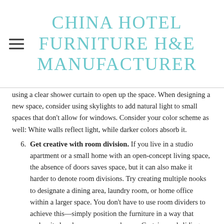CHINA HOTEL FURNITURE H&E MANUFACTURER
using a clear shower curtain to open up the space. When designing a new space, consider using skylights to add natural light to small spaces that don't allow for windows. Consider your color scheme as well: White walls reflect light, while darker colors absorb it.
6. Get creative with room division. If you live in a studio apartment or a small home with an open-concept living space, the absence of doors saves space, but it can also make it harder to denote room divisions. Try creating multiple nooks to designate a dining area, laundry room, or home office within a larger space. You don't have to use room dividers to achieve this—simply position the furniture in a way that makes it clear how you use each area. Curtains and sliding doors can also help create division without taking up too much space in a small apartment or tiny house.